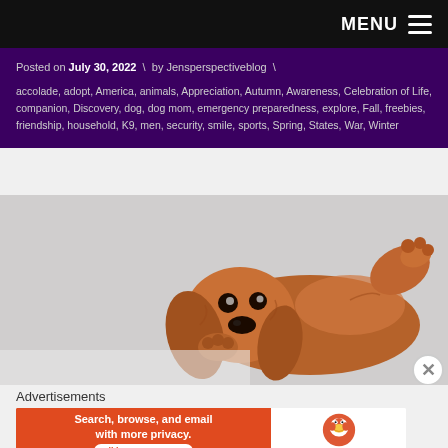MENU ≡
Posted on July 30, 2022 \ by Jensperspectiveblog \
accolade, adopt, America, animals, Appreciation, Autumn, Awareness, Celebration of Life, companion, Discovery, dog, dog mom, emergency preparedness, explore, Fall, freebies, friendship, household, K9, men, security, smile, sports, Spring, States, War, Winter
[Figure (photo): A golden/red Cocker Spaniel puppy lying on its back on a white background, looking up at the camera with one paw raised.]
Advertisements
[Figure (infographic): DuckDuckGo advertisement banner: orange/red left side with text 'Search, browse, and email with more privacy. All in One Free App' and white right side with DuckDuckGo duck logo and 'DuckDuckGo' text.]